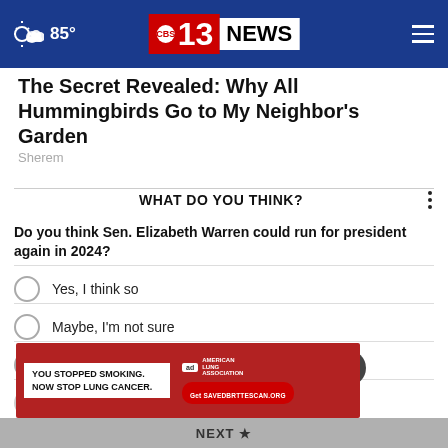85° | CBS 13 NEWS
The Secret Revealed: Why All Hummingbirds Go to My Neighbor's Garden
Sherem
WHAT DO YOU THINK?
Do you think Sen. Elizabeth Warren could run for president again in 2024?
Yes, I think so
Maybe, I'm not sure
No, I don't think so
[Figure (screenshot): Ad banner: YOU STOPPED SMOKING. NOW STOP LUNG CANCER. – American Lung Association, Get SAVEDBYTKESCAN.ORG]
NEXT *